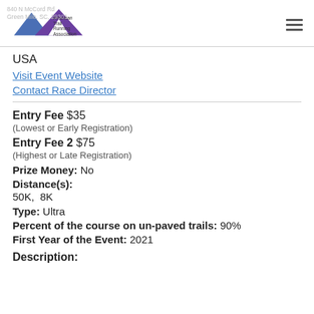[Figure (logo): ATRA American Trail Running Association logo with mountain/triangle shapes in blue and purple]
840 N McCord Rd
Green Mile, SC, 29301
USA
Visit Event Website
Contact Race Director
Entry Fee $35
(Lowest or Early Registration)
Entry Fee 2 $75
(Highest or Late Registration)
Prize Money: No
Distance(s):
50K,  8K
Type: Ultra
Percent of the course on un-paved trails: 90%
First Year of the Event: 2021
Description: